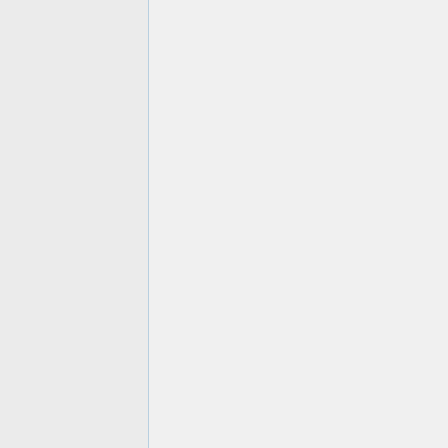| Institution | Area | Deadline | Names |
| --- | --- | --- | --- |
| MIT* | math/stat | Dec 1 | Lek-Hen...
Sug Wo... |
| Miami U, Ohio* | geom/topol, ODE (2) | Dec 1 | Daniel F...
Anna Ghazary...
Richard-... [strikethrough]
Eduardo
Martinez
Pedroza
Xiangdo... |
| Michigan Tech | stat | Nov 16 | Andreas...
Artemio...
Rothman... [strikethrough italic]
Joanne S... |
| Michigan Tech | education | Dec 1 | Maryann...
Jennifer
Kaminsk...
Amanda
Lambert...
Wendy A... (late offe... [strikethrough]
Search
Conclude... |